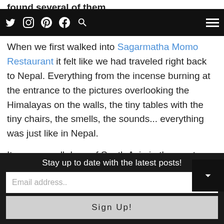found several of them.
Social icons: Twitter, Instagram, Pinterest, Facebook, Search | Hamburger menu
When we first walked into Sagarmatha Momo Restaurant it felt like we had traveled right back to Nepal. Everything from the incense burning at the entrance to the pictures overlooking the Himalayas on the walls, the tiny tables with the tiny chairs, the smells, the sounds... everything was just like in Nepal.
It was a small dose of South Asia in the most unlikely place.
The food was great and incredibly authentic as well.
Stay up to date with the latest posts!
Email address..
Sign Up!